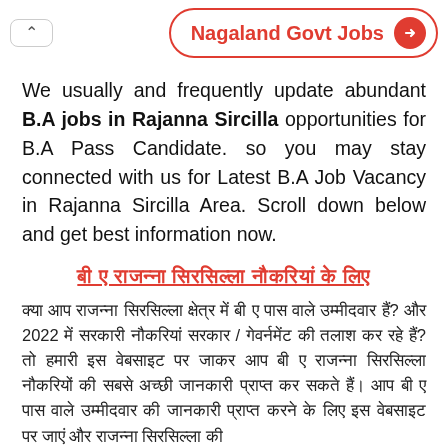[Figure (other): Navigation top bar with back button (chevron up) and Nagaland Govt Jobs button with red arrow circle]
We usually and frequently update abundant B.A jobs in Rajanna Sircilla opportunities for B.A Pass Candidate. so you may stay connected with us for Latest B.A Job Vacancy in Rajanna Sircilla Area. Scroll down below and get best information now.
बी ए राजन्ना सिरसिल्ला नौकरियां के लिए
क्या आप राजन्ना सिरसिल्ला क्षेत्र में बी ए पास वाले उम्मीदवार हैं? और 2022 में सरकारी नौकरियां सरकार / गेवर्नमेंट की तलाश कर रहे हैं? तो हमारी इस वेबसाइट पर जाकर आप बी ए राजन्ना सिरसिल्ला नौकरियों की सबसे अच्छी जानकारी प्राप्त कर सकते हैं। आप बी ए पास वाले उम्मीदवार की जानकारी प्राप्त करने के लिए इस वेबसाइट पर जाएं और राजन्ना सिरसिल्ला की